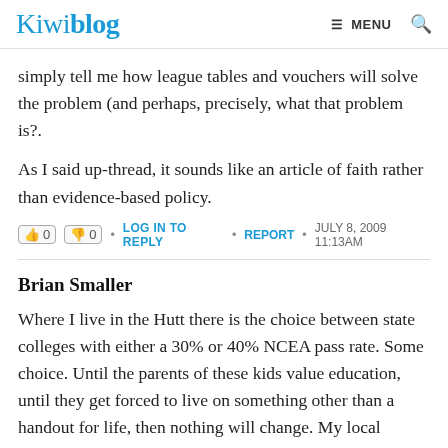Kiwiblog | MENU [search]
simply tell me how league tables and vouchers will solve the problem (and perhaps, precisely, what that problem is?.
As I said up-thread, it sounds like an article of faith rather than evidence-based policy.
0 0 • LOG IN TO REPLY • REPORT • JULY 8, 2009 11:13AM
Brian Smaller
Where I live in the Hutt there is the choice between state colleges with either a 30% or 40% NCEA pass rate. Some choice. Until the parents of these kids value education, until they get forced to live on something other than a handout for life, then nothing will change. My local college already has a classroom full of Y10/11